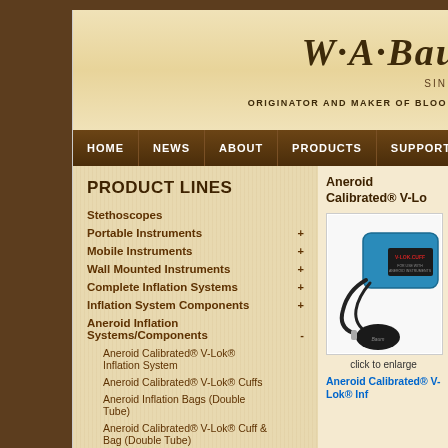W·A·Bau — ORIGINATOR AND MAKER OF BLOOD PRESSURE INSTRUMENTS — SINCE
HOME | NEWS | ABOUT | PRODUCTS | SUPPORT
PRODUCT LINES
Stethoscopes
Portable Instruments +
Mobile Instruments +
Wall Mounted Instruments +
Complete Inflation Systems +
Inflation System Components +
Aneroid Inflation Systems/Components -
Aneroid Calibrated® V-Lok® Inflation System
Aneroid Calibrated® V-Lok® Cuffs
Aneroid Inflation Bags (Double Tube)
Aneroid Calibrated® V-Lok® Cuff & Bag (Double Tube)
Aneroid Calibrated® V-Lo
[Figure (photo): Aneroid Calibrated V-Lok Cuff product photo showing blue cuff with V-LOK CUFF label, black inflation bulb and tubing]
click to enlarge
Aneroid Calibrated® V-Lok® Inf